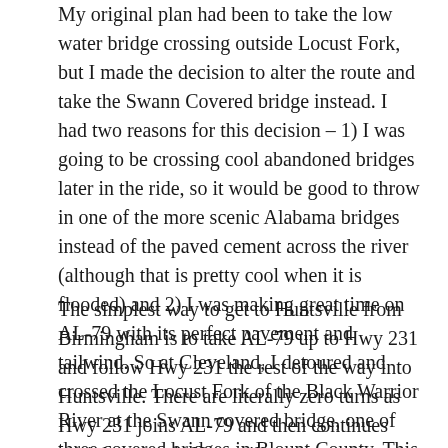My original plan had been to take the low water bridge crossing outside Locust Fork, but I made the decision to alter the route and take the Swann Covered bridge instead. I had two reasons for this decision – 1) I was going to be crossing cool abandoned bridges later in the ride, so it would be good to throw in one of the more scenic Alabama bridges instead of the paved cement across the river (although that is pretty cool when it is flooded) and 2) I was making great time on AL-79 with its perfect pavement and tailwind. So at Cleveland, I detoured and crossed the Locust Fork of the Black Warrior River at the Swann covered bridge, one of three covered bridges in Blount County. This really didn't add too much time, and it was nice to be on a nearly traffic-free road for a few miles before hitting Hwy 231 through Blountsville.
The simplest way to get to Huntsville from Birmingham is to take AL-79 up to Hwy 231 and follow Hwy 231 the rest of the way into Huntsville. There are literally zero turns as Hwy 231 joins AL-79 and then continues straight towards Huntsville